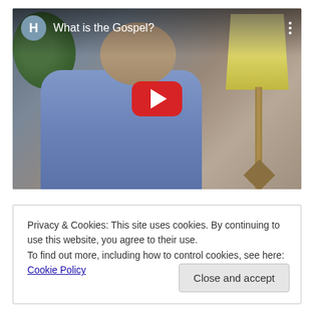[Figure (screenshot): YouTube video thumbnail showing a man in a blue shirt speaking, with the title 'What is the Gospel?' displayed in the top bar with a YouTube-style avatar letter H. A lamp is visible in the background. A red YouTube play button is centered over the image.]
Privacy & Cookies: This site uses cookies. By continuing to use this website, you agree to their use.
To find out more, including how to control cookies, see here: Cookie Policy